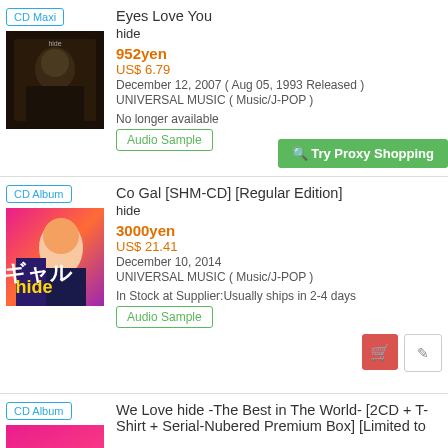CD Maxi
[Figure (photo): Album cover for Eyes Love You by hide - dark background with figure]
Eyes Love You
hide
952yen
US$ 6.79
December 12, 2007 ( Aug 05, 1993 Released )
UNIVERSAL MUSIC ( Music/J-POP )
No longer available
Audio Sample
Try Proxy Shopping
CD Album
[Figure (photo): Album cover for Co Gal by hide - colorful anime-style girl]
Co Gal [SHM-CD] [Regular Edition]
hide
3000yen
US$ 21.41
December 10, 2014
UNIVERSAL MUSIC ( Music/J-POP )
In Stock at Supplier:Usually ships in 2-4 days
Audio Sample
CD Album
[Figure (photo): Album cover for We Love hide - pink/magenta background]
We Love hide -The Best in The World- [2CD + T-Shirt + Serial-Nubered Premium Box] [Limited to